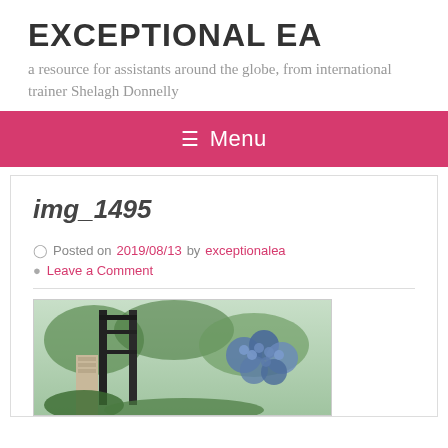EXCEPTIONAL EA
a resource for assistants around the globe, from international trainer Shelagh Donnelly
≡ Menu
img_1495
Posted on 2019/08/13 by exceptionalea
Leave a Comment
[Figure (photo): Outdoor photo showing a garden gate or trellis structure with blue hydrangea flowers on the right side, green foliage background]